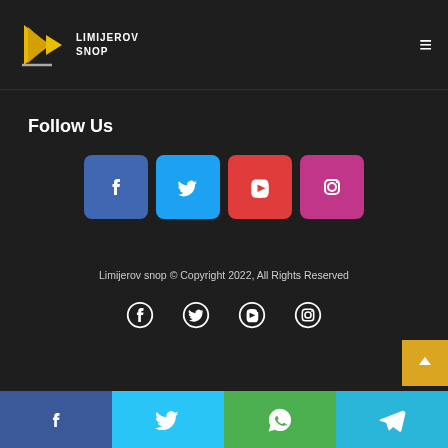[Figure (logo): Limijerov Snop logo with yellow arrow/bookmark shape and text]
Follow Us
[Figure (infographic): Four colored social media icon buttons: Facebook (blue), Twitter (cyan), YouTube (red), Instagram (pink/magenta)]
Limijerov snop © Copyright 2022, All Rights Reserved
[Figure (infographic): Four plain white social media icons: Facebook, Twitter, YouTube, Instagram]
[Figure (infographic): Bottom share bar with four colored sections: Facebook (blue), Twitter (cyan), WhatsApp (green), Telegram (light blue)]